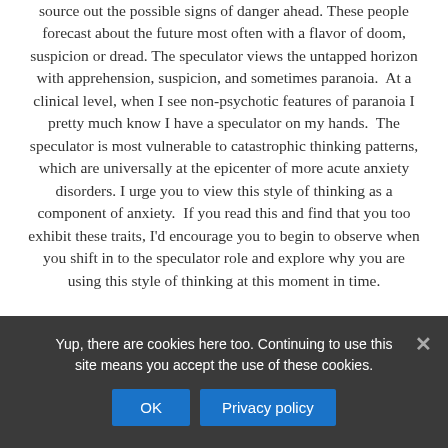source out the possible signs of danger ahead. These people forecast about the future most often with a flavor of doom, suspicion or dread. The speculator views the untapped horizon with apprehension, suspicion, and sometimes paranoia.  At a clinical level, when I see non-psychotic features of paranoia I pretty much know I have a speculator on my hands.  The speculator is most vulnerable to catastrophic thinking patterns, which are universally at the epicenter of more acute anxiety disorders. I urge you to view this style of thinking as a component of anxiety.  If you read this and find that you too exhibit these traits, I'd encourage you to begin to observe when you shift in to the speculator role and explore why you are using this style of thinking at this moment in time.
Yup, there are cookies here too. Continuing to use this site means you accept the use of these cookies.
OK   Privacy policy